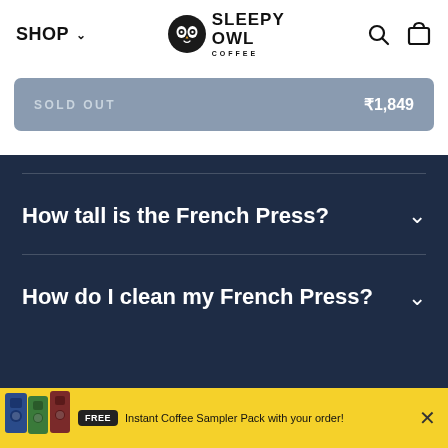SHOP ∨  |  Sleepy Owl Coffee  |  [search icon] [cart icon]
SOLD OUT  ₹1,849
How tall is the French Press?
How do I clean my French Press?
FREE  Instant Coffee Sampler Pack with your order!